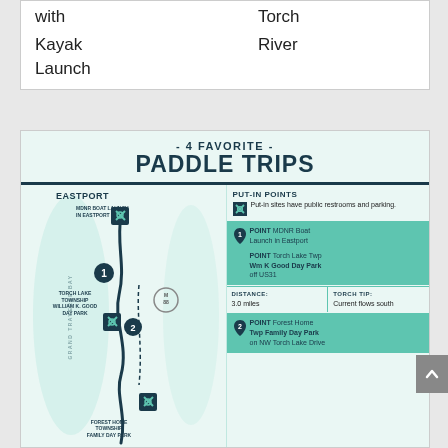| with | Torch |
| Kayak | River |
| Launch |  |
[Figure (infographic): 4 Favorite Paddle Trips infographic showing a map of Eastport area with paddle route points and information panel with put-in points, distances, and tips.]